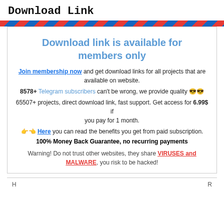Download Link
Download link is available for members only
Join membership now and get download links for all projects that are available on website.
8578+ Telegram subscribers can't be wrong, we provide quality 😎😎
65507+ projects, direct download link, fast support. Get access for 6.99$ if you pay for 1 month.
👉👈 Here you can read the benefits you get from paid subscription.
100% Money Back Guarantee, no recurring payments
Warning! Do not trust other websites, they share VIRUSES and MALWARE, you risk to be hacked!